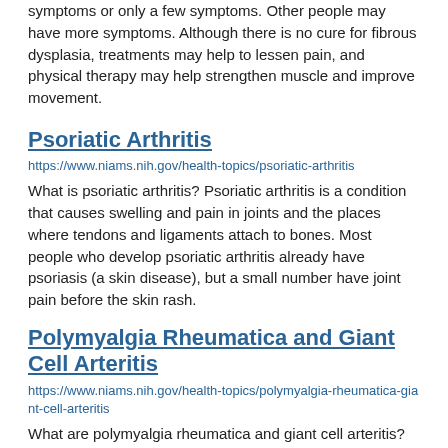symptoms or only a few symptoms. Other people may have more symptoms. Although there is no cure for fibrous dysplasia, treatments may help to lessen pain, and physical therapy may help strengthen muscle and improve movement.
Psoriatic Arthritis
https://www.niams.nih.gov/health-topics/psoriatic-arthritis
What is psoriatic arthritis? Psoriatic arthritis is a condition that causes swelling and pain in joints and the places where tendons and ligaments attach to bones. Most people who develop psoriatic arthritis already have psoriasis (a skin disease), but a small number have joint pain before the skin rash.
Polymyalgia Rheumatica and Giant Cell Arteritis
https://www.niams.nih.gov/health-topics/polymyalgia-rheumatica-giant-cell-arteritis
What are polymyalgia rheumatica and giant cell arteritis? Polymyalgia rheumatica and giant cell arteritis are closely linked inflammatory disorders. Some people have one of the disorders while others develop both of them. Polymyalgia rheumatica causes muscle pain and stiffness in the shoulders, upper arms, hip area, and sometimes the neck. Giant cell arteritis causes inflammation of arteries, especially those on each side of the head, scalp, and the